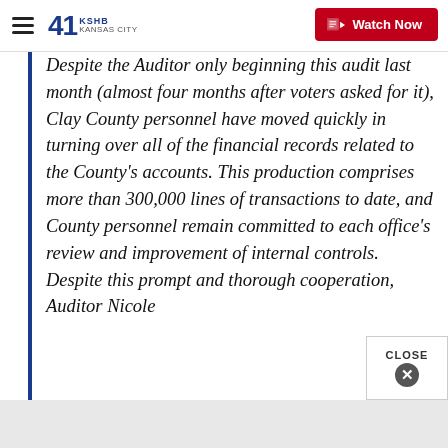41 KSHB KANSAS CITY | Watch Now
Despite the Auditor only beginning this audit last month (almost four months after voters asked for it), Clay County personnel have moved quickly in turning over all of the financial records related to the County's accounts. This production comprises more than 300,000 lines of transactions to date, and County personnel remain committed to each office's review and improvement of internal controls. Despite this prompt and thorough cooperation, Auditor Nicole